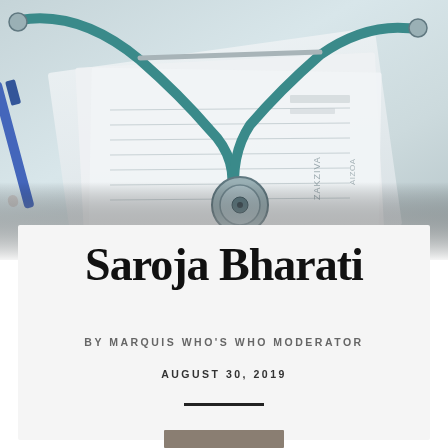[Figure (photo): Photograph of a teal/green stethoscope resting on medical paperwork/forms, with a blue pen visible on the left side. The image has a light, airy, slightly desaturated look.]
Saroja Bharati
BY MARQUIS WHO'S WHO MODERATOR
AUGUST 30, 2019